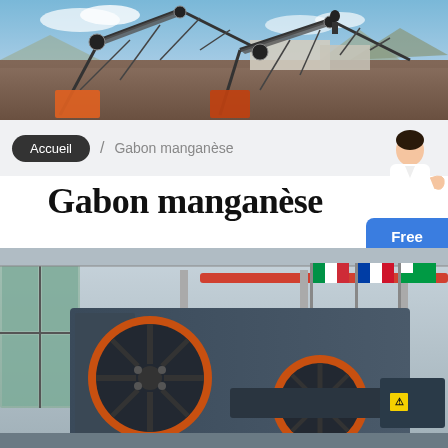[Figure (photo): Outdoor industrial mining/crushing plant with conveyor belts and machinery against a blue sky with mountains in the background.]
Accueil / Gabon manganèse
Gabon manganèse
[Figure (photo): Close-up of industrial jaw crusher machinery with large orange flywheels inside a factory hall with international flags hanging in the background.]